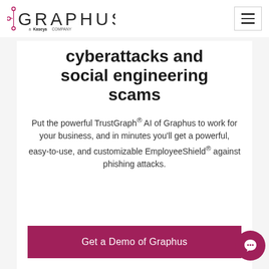Graphus — a Kaseya company
cyberattacks and social engineering scams
Put the powerful TrustGraph® AI of Graphus to work for your business, and in minutes you'll get a powerful, easy-to-use, and customizable EmployeeShield® against phishing attacks.
Get a Demo of Graphus